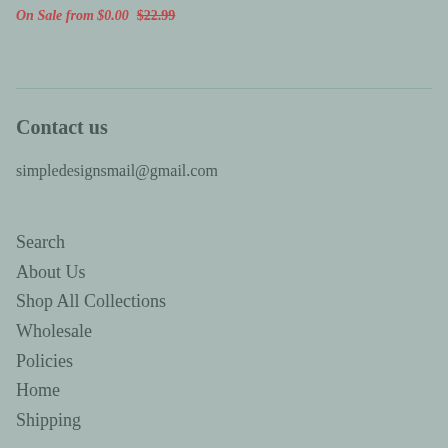On Sale from $0.00 $22.99
Contact us
simpledesignsmail@gmail.com
Search
About Us
Shop All Collections
Wholesale
Policies
Home
Shipping